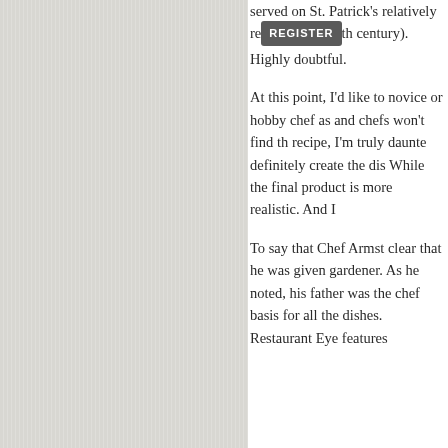served on St. Patrick's relatively recent (19th century). Highly doubtful.
At this point, I'd like to address novice or hobby chef as well — and chefs won't find this easy recipe, I'm truly daunted — definitely create the dish. While the final product is more realistic. And I
To say that Chef Armstrong clear that he was given gardener. As he noted, his father was the chef basis for all the dishes. Restaurant Eve features